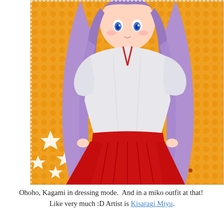[Figure (illustration): Anime illustration of a purple-haired girl named Kagami wearing a miko (shrine maiden) outfit consisting of a white haori top and red hakama skirt, posed against an orange polka dot background with white sparkle effects in lower area.]
Ohoho, Kagami in dressing mode.  And in a miko outfit at that!  Like very much :D Artist is Kisaragi Miyu.